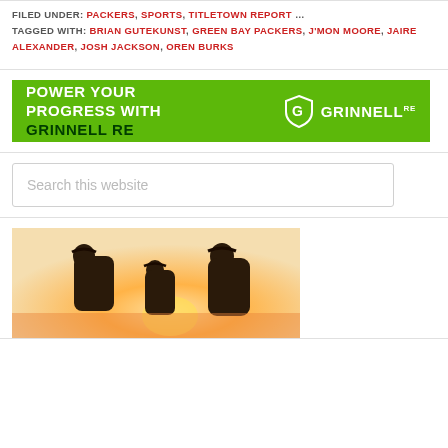FILED UNDER: PACKERS, SPORTS, TITLETOWN REPORT … TAGGED WITH: BRIAN GUTEKUNST, GREEN BAY PACKERS, J'MON MOORE, JAIRE ALEXANDER, JOSH JACKSON, OREN BURKS
[Figure (other): Grinnell RE advertisement banner — green background with white text 'POWER YOUR PROGRESS WITH GRINNELL RE' and Grinnell RE logo on right]
Search this website
[Figure (photo): Silhouette of three people wearing baseball caps conversing outdoors with a warm sunset backlight, orange and cream tones]